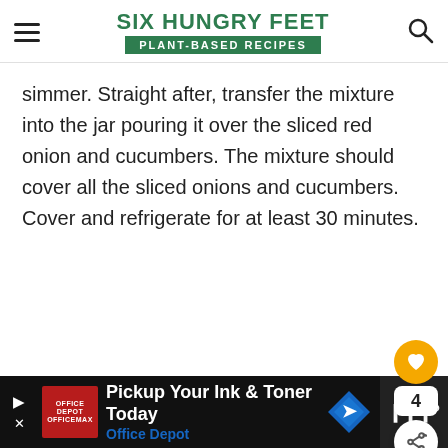SIX HUNGRY FEET — PLANT-BASED RECIPES
simmer. Straight after, transfer the mixture into the jar pouring it over the sliced red onion and cucumbers. The mixture should cover all the sliced onions and cucumbers. Cover and refrigerate for at least 30 minutes.
[Figure (other): Floating action buttons: heart/favourite button (gold), count '4', share button (white circle with share icon)]
[Figure (other): Advertisement bar for Office Depot: 'Pickup Your Ink & Toner Today, Office Depot' with red logo and blue navigation diamond icon]